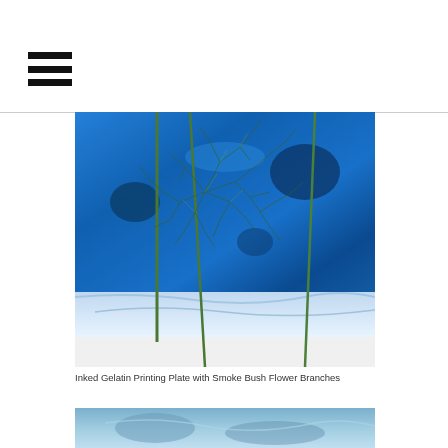[Figure (photo): Inked gelatin printing plate with smoke bush flower branches laid across it, showing vibrant blue ink on the plate with delicate branching plant material creating patterns against the blue background]
Inked Gelatin Printing Plate with Smoke Bush Flower Branches
[Figure (photo): Partial view of a blue-toned gelatin print or printed paper, cropped at the bottom of the page]